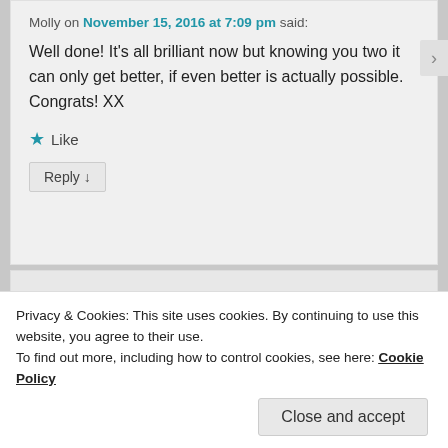Molly on November 15, 2016 at 7:09 pm said:
Well done! It's all brilliant now but knowing you two it can only get better, if even better is actually possible. Congrats! XX
Like
Reply ↓
Leave a Reply
Your email address will not be published. Required fields are marked *
Privacy & Cookies: This site uses cookies. By continuing to use this website, you agree to their use.
To find out more, including how to control cookies, see here: Cookie Policy
Close and accept